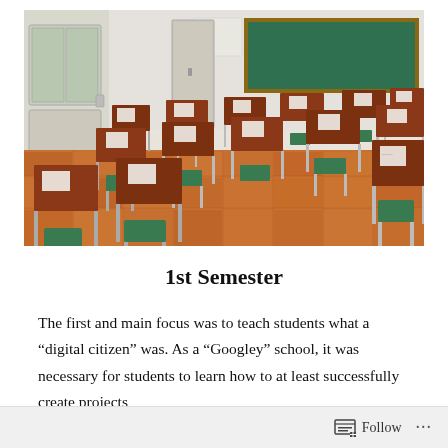[Figure (photo): An empty Japanese-style classroom with rows of wooden desks and green chairs, parquet floor, windows on the left, and a green chalkboard at the front.]
1st Semester
The first and main focus was to teach students what a “digital citizen” was. As a “Googley” school, it was necessary for students to learn how to at least successfully create projects
Follow ...